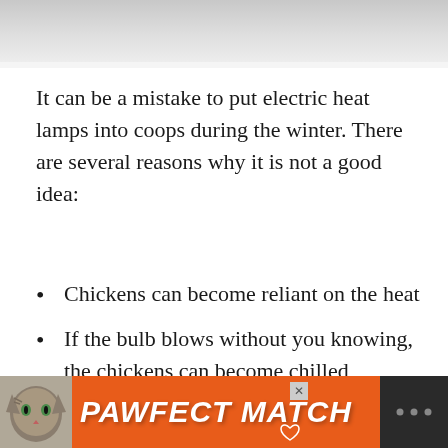[Figure (photo): Top portion of an image, light gray/white tones, partially cropped]
It can be a mistake to put electric heat lamps into coops during the winter. There are several reasons why it is not a good idea:
Chickens can become reliant on the heat
If the bulb blows without you knowing, the chickens can become chilled
The lamps are a fire hazard
They cost money to run
[Figure (advertisement): PAWFECT MATCH advertisement banner with cat image on orange background]